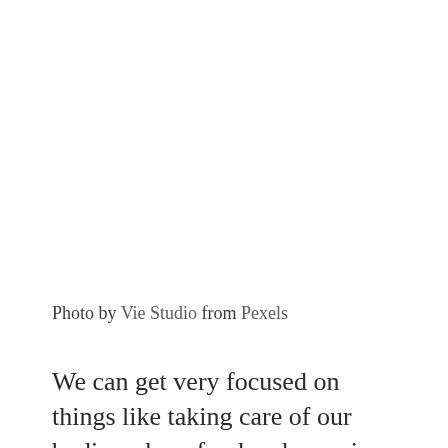Photo by Vie Studio from Pexels
We can get very focused on things like taking care of our bodies where food and exercise are concerned, or